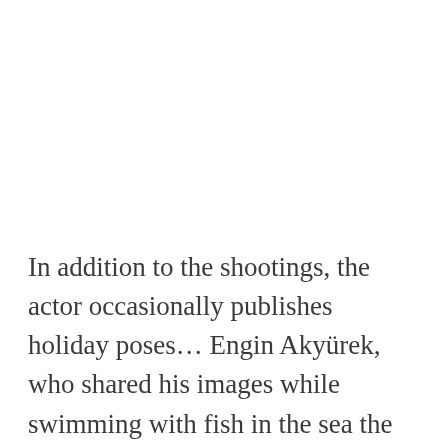In addition to the shootings, the actor occasionally publishes holiday poses… Engin Akyürek, who shared his images while swimming with fish in the sea the previous month, presented his latest image to his followers yesterday.